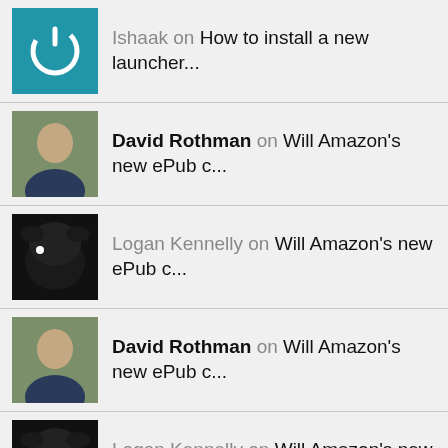Ishaak on How to install a new launcher...
David Rothman on Will Amazon's new ePub c...
Logan Kennelly on Will Amazon's new ePub c...
David Rothman on Will Amazon's new ePub c...
Logan Kennelly on Will Amazon's new ePub c...
David Rothman on The $49 Vulcan Journey tablet...
David Taylor on The $49 Vulcan Journey